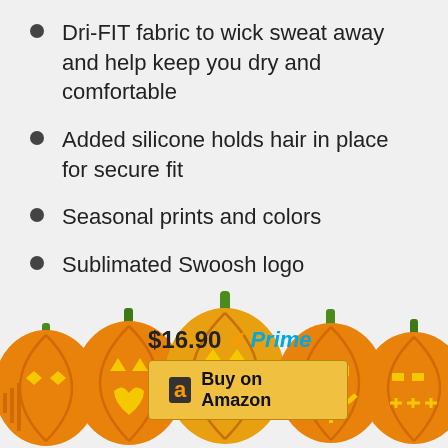Dri-FIT fabric to wick sweat away and help keep you dry and comfortable
Added silicone holds hair in place for secure fit
Seasonal prints and colors
Sublimated Swoosh logo
Contents: 88% Polyester, 12% Spandex
$16.90 Prime
[Figure (illustration): Row of Halloween jack-o-lantern pumpkins with carved faces, orange with green stems, glowing yellow eyes and mouths]
Buy on Amazon